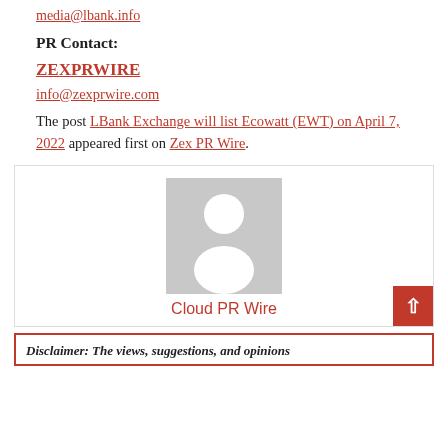media@lbank.info
PR Contact:
ZEXPRWIRE
info@zexprwire.com
The post LBank Exchange will list Ecowatt (EWT) on April 7, 2022 appeared first on Zex PR Wire.
[Figure (illustration): Author avatar placeholder – grey rectangle with white silhouette of a person, labeled 'Cloud PR Wire' in red below]
Disclaimer: The views, suggestions, and opinions